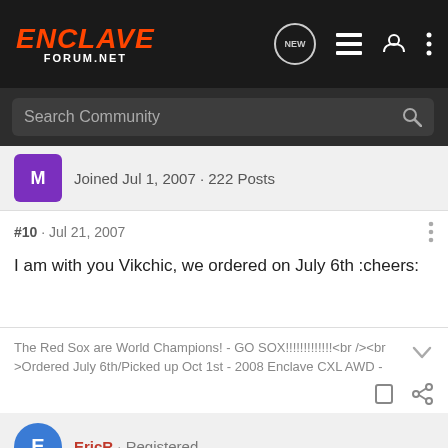ENCLAVE FORUM.NET
Search Community
Joined Jul 1, 2007 · 222 Posts
#10 · Jul 21, 2007
I am with you Vikchic, we ordered on July 6th :cheers:
The Red Sox are World Champions! - GO SOX!!!!!!!!!!!!!<br /><br />Ordered July 6th/Picked up Oct 1st - 2008 Enclave CXL AWD -
EricR · Registered